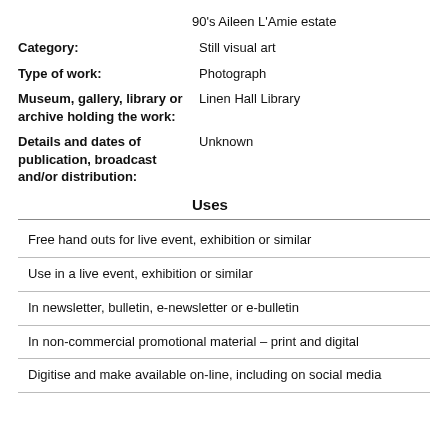90's Aileen L'Amie estate
| Field | Value |
| --- | --- |
| Category: | Still visual art |
| Type of work: | Photograph |
| Museum, gallery, library or archive holding the work: | Linen Hall Library |
| Details and dates of publication, broadcast and/or distribution: | Unknown |
Uses
Free hand outs for live event, exhibition or similar
Use in a live event, exhibition or similar
In newsletter, bulletin, e-newsletter or e-bulletin
In non-commercial promotional material – print and digital
Digitise and make available on-line, including on social media